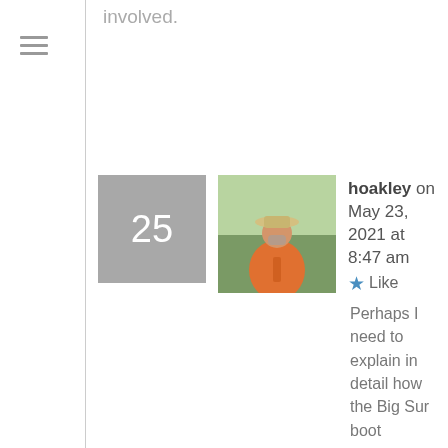involved.
25
[Figure (photo): Avatar photo of user hoakley, a person wearing a hat and orange jacket outdoors]
hoakley on May 23, 2021 at 8:47 am
Like
Perhaps I need to explain in detail how the Big Sur boot process differs from Sierra? In Sierra, it's much simpler; in Big Sur your Mac doesn't boot from the System volume, but first has to locate the snapshot there containing the System volume, mount it, check its seal, then boot from that snapshot.
It looks like that process is taking longer on older Macs. As I don't have an older Mac